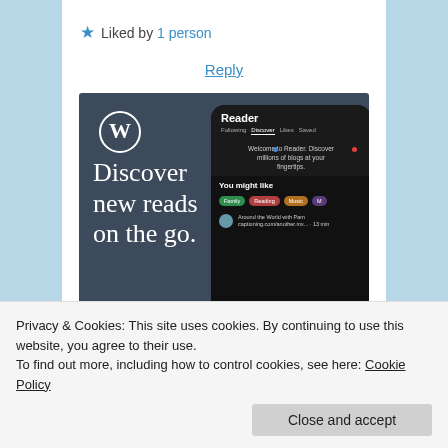★ Liked by 1 person
Reply
[Figure (screenshot): WordPress Reader app advertisement showing 'Discover new reads on the go.' with a phone mockup showing the Reader interface with Following, Discover, Likes, Saved tabs and 'You might like' section with Family, Reading, Music tags]
Privacy & Cookies: This site uses cookies. By continuing to use this website, you agree to their use.
To find out more, including how to control cookies, see here: Cookie Policy
Close and accept